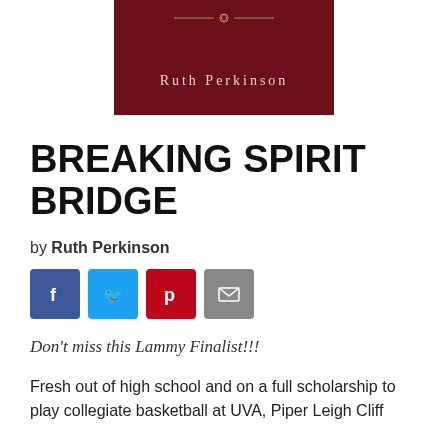[Figure (illustration): Book cover with dark red/maroon background showing 'Ruth Perkinson' as author name in light tan serif text with an ornamental divider above]
BREAKING SPIRIT BRIDGE
by Ruth Perkinson
[Figure (infographic): Row of four social sharing buttons: Facebook (blue), Twitter (light blue), Pinterest (red), Email (gray)]
Don't miss this Lammy Finalist!!!
Fresh out of high school and on a full scholarship to play collegiate basketball at UVA, Piper Leigh Cliff